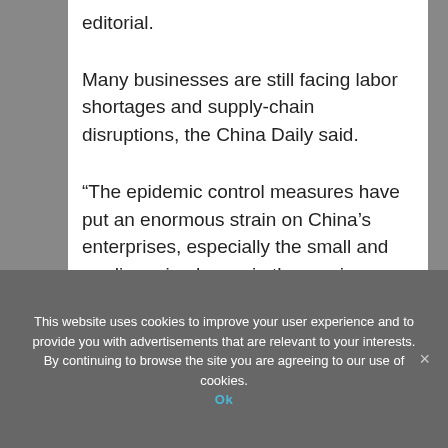editorial.
Many businesses are still facing labor shortages and supply-chain disruptions, the China Daily said.
“The epidemic control measures have put an enormous strain on China’s enterprises, especially the small and medium-sized ones in the service sector,” it said.
This website uses cookies to improve your user experience and to provide you with advertisements that are relevant to your interests. By continuing to browse the site you are agreeing to our use of cookies.
Ok